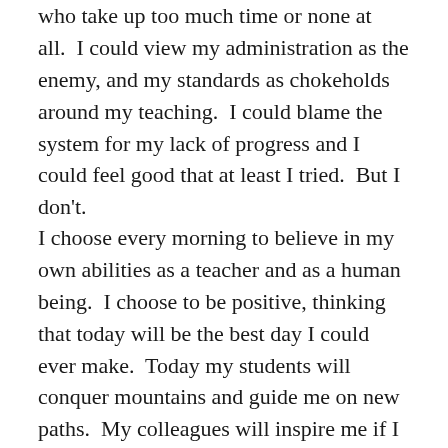who take up too much time or none at all.  I could view my administration as the enemy, and my standards as chokeholds around my teaching.  I could blame the system for my lack of progress and I could feel good that at least I tried.  But I don't.
I choose every morning to believe in my own abilities as a teacher and as a human being.  I choose to be positive, thinking that today will be the best day I could ever make.  Today my students will conquer mountains and guide me on new paths.  My colleagues will inspire me if I reach out, and then will support me through my journey.   My administration will hold me to high standards because they believe I will soar.  The standards are simply guides and they can